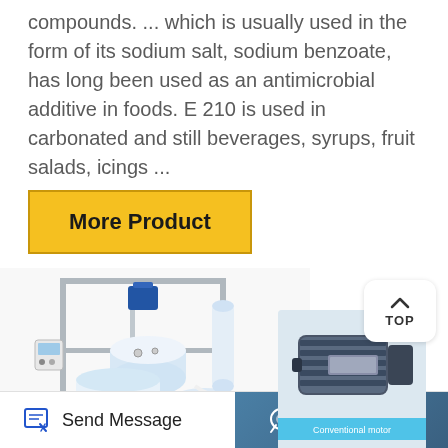compounds. ... which is usually used in the form of its sodium salt, sodium benzoate, has long been used as an antimicrobial additive in foods. E 210 is used in carbonated and still beverages, syrups, fruit salads, icings ...
More Product
[Figure (photo): Laboratory reactor equipment setup with glass vessels, stainless steel frame, motor, tubing and control panel]
[Figure (photo): Close-up image of a conventional motor (gray/blue industrial motor) with label 'Conventional motor']
Send Message
Inquiry Online